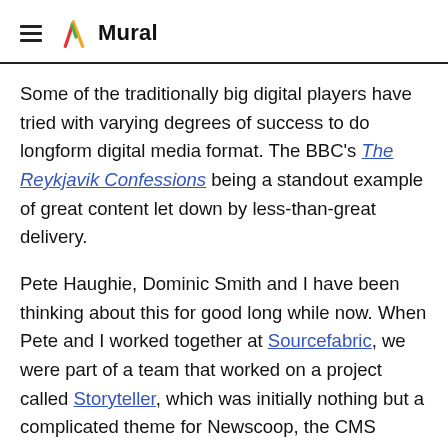Mural
Some of the traditionally big digital players have tried with varying degrees of success to do longform digital media format. The BBC's The Reykjavik Confessions being a standout example of great content let down by less-than-great delivery.
Pete Haughie, Dominic Smith and I have been thinking about this for good long while now. When Pete and I worked together at Sourcefabric, we were part of a team that worked on a project called Storyteller, which was initially nothing but a complicated theme for Newscoop, the CMS maintained by Sourcefabric. Storyteller had similar intentions, worked OK, and was used effectively by more than a few organizations, but it was soon